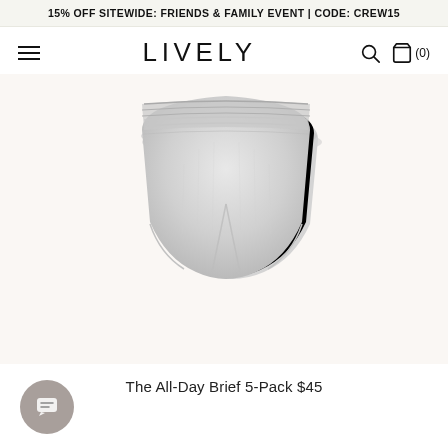15% OFF SITEWIDE: FRIENDS & FAMILY EVENT | CODE: CREW15
LIVELY
[Figure (photo): Gray heather high-waist brief underwear 5-pack stacked on a warm off-white background]
The All-Day Brief 5-Pack $45